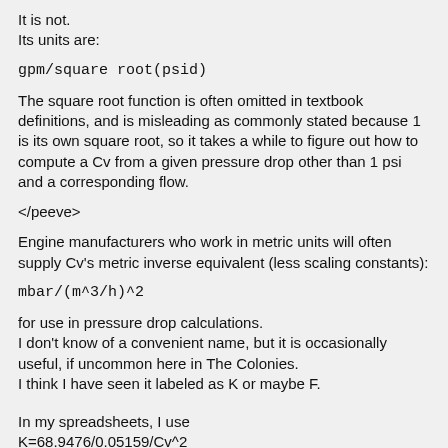It is not.
Its units are:
The square root function is often omitted in textbook definitions, and is misleading as commonly stated because 1 is its own square root, so it takes a while to figure out how to compute a Cv from a given pressure drop other than 1 psi and a corresponding flow.
</peeve>
Engine manufacturers who work in metric units will often supply Cv's metric inverse equivalent (less scaling constants):
for use in pressure drop calculations.
I don't know of a convenient name, but it is occasionally useful, if uncommon here in The Colonies.
I think I have seen it labeled as K or maybe F.
In my spreadsheets, I use
K=68.9476/0.05159/Cv^2
to convert from one to another.